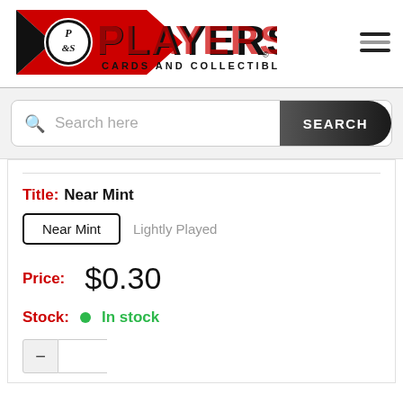[Figure (logo): Players Cards and Collectibles logo with red pennant and bold text]
Search here
SEARCH
Title: Near Mint
Near Mint
Lightly Played
Price: $0.30
Stock: In stock